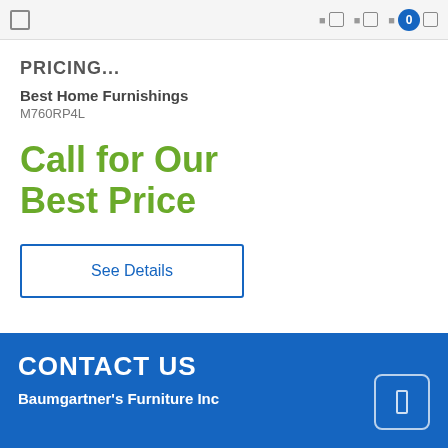Navigation bar with cart icon showing 0
PRICING...
Best Home Furnishings
M760RP4L
Call for Our Best Price
See Details
CONTACT US
Baumgartner's Furniture Inc